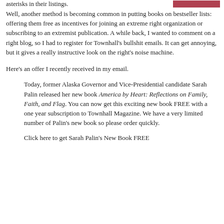asterisks in their listings.
[Figure (photo): Small image at top right, reddish/dark colored book cover or graphic]
Well, another method is becoming common in putting books on bestseller lists: offering them free as incentives for joining an extreme right organization or subscribing to an extremist publication. A while back, I wanted to comment on a right blog, so I had to register for Townhall's bullshit emails. It can get annoying, but it gives a really instructive look on the right's noise machine.
Here's an offer I recently received in my email.
Today, former Alaska Governor and Vice-Presidential candidate Sarah Palin released her new book America by Heart: Reflections on Family, Faith, and Flag. You can now get this exciting new book FREE with a one year subscription to Townhall Magazine. We have a very limited number of Palin's new book so please order quickly.
Click here to get Sarah Palin's New Book FREE